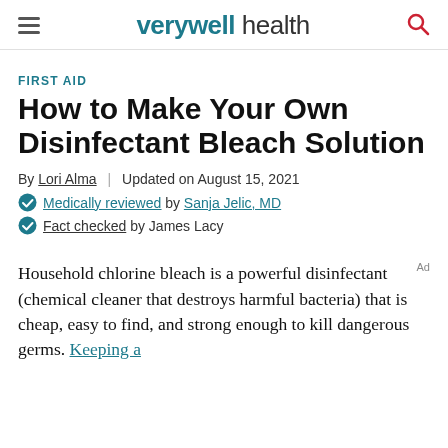verywell health
FIRST AID
How to Make Your Own Disinfectant Bleach Solution
By Lori Alma | Updated on August 15, 2021
Medically reviewed by Sanja Jelic, MD
Fact checked by James Lacy
Household chlorine bleach is a powerful disinfectant (chemical cleaner that destroys harmful bacteria) that is cheap, easy to find, and strong enough to kill dangerous germs. Keeping a